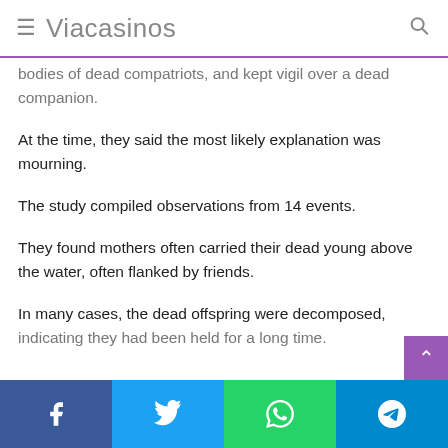≡ Viacasinos 🔍
bodies of dead compatriots, and kept vigil over a dead companion.
At the time, they said the most likely explanation was mourning.
The study compiled observations from 14 events.
They found mothers often carried their dead young above the water, often flanked by friends.
In many cases, the dead offspring were decomposed, indicating they had been held for a long time.
Facebook | Twitter | WhatsApp | Telegram